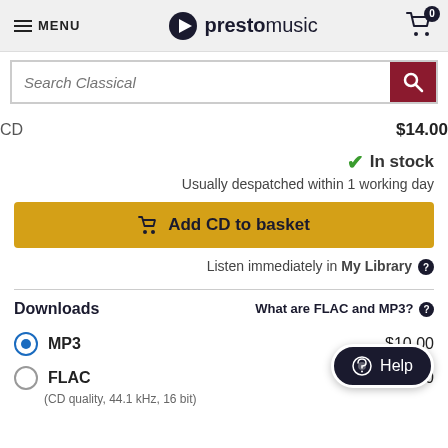MENU | prestomusic | Cart: 0
Search Classical
CD   $14.00
✓ In stock
Usually despatched within 1 working day
Add CD to basket
Listen immediately in My Library ?
Downloads
What are FLAC and MP3? ?
MP3   $10.00
FLAC   $12.00
(CD quality, 44.1 kHz, 16 bit)